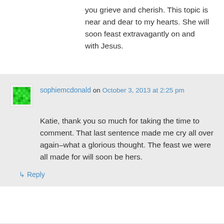you grieve and cherish. This topic is near and dear to my hearts. She will soon feast extravagantly on and with Jesus.
↳ Reply
sophiemcdonald on October 3, 2013 at 2:25 pm
Katie, thank you so much for taking the time to comment. That last sentence made me cry all over again–what a glorious thought. The feast we were all made for will soon be hers.
↳ Reply